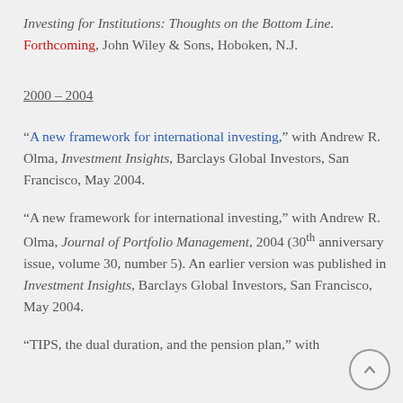Investing for Institutions: Thoughts on the Bottom Line. Forthcoming, John Wiley & Sons, Hoboken, N.J.
2000 – 2004
“A new framework for international investing,” with Andrew R. Olma, Investment Insights, Barclays Global Investors, San Francisco, May 2004.
“A new framework for international investing,” with Andrew R. Olma, Journal of Portfolio Management, 2004 (30th anniversary issue, volume 30, number 5). An earlier version was published in Investment Insights, Barclays Global Investors, San Francisco, May 2004.
“TIPS, the dual duration, and the pension plan,” with